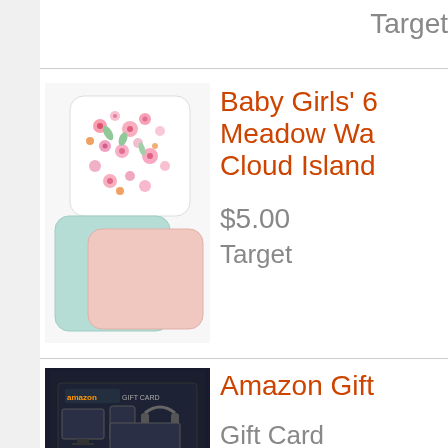Target
[Figure (photo): Baby washcloths - one with floral/meadow print and two plain (mint and pink)]
Baby Girls' 6 Meadow Was Cloud Island
$5.00
Target
[Figure (photo): Amazon Gift Card with electronics/devices imagery on dark background]
Amazon Gift
Gift Card